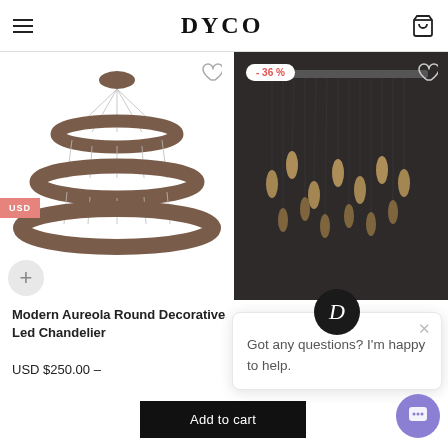DYCO
[Figure (photo): Modern Aureola Round Decorative Led Chandelier - three concentric bronze/brown rings, hanging lamp]
Modern Aureola Round Decorative Led Chandelier
USD $250.00 –
[Figure (photo): Pendant light chandelier with multiple glass drop pendants on dark background, - 36 % discount badge]
USD $5,000.00 (strikethrough)
Got any questions? I'm happy to help.
Add to cart